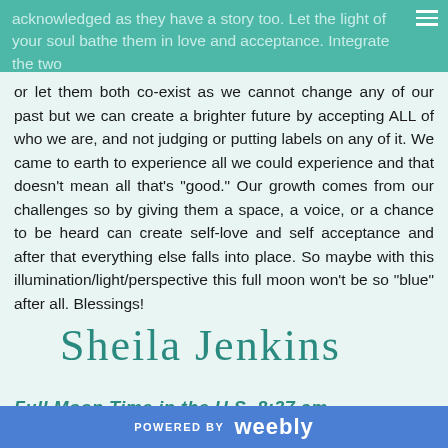acknowledged as they have a story too. Let the light of your soul bathe them in love and acceptance. Integrate the two or let them both co-exist as we cannot change any of our past but we can create a brighter future by accepting ALL of who we are, and not judging or putting labels on any of it. We came to earth to experience all we could experience and that doesn't mean all that's "good." Our growth comes from our challenges so by giving them a space, a voice, or a chance to be heard can create self-love and self acceptance and after that everything else falls into place. So maybe with this illumination/light/perspective this full moon won't be so "blue" after all. Blessings!
[Figure (illustration): Cursive signature reading 'Sheila Jenkins' in teal/dark teal color]
Full Moon Time in the U.S. 8:37 am
POWERED BY weebly